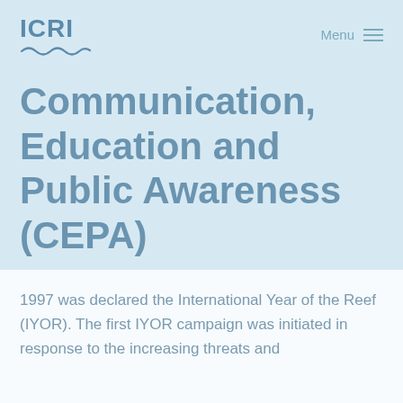ICRI
Communication, Education and Public Awareness (CEPA)
1997 was declared the International Year of the Reef (IYOR). The first IYOR campaign was initiated in response to the increasing threats and